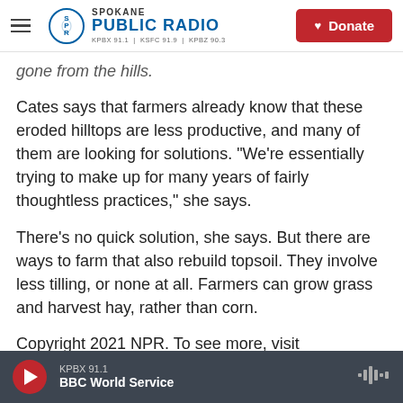Spokane Public Radio — KPBX 91.1 | KSFC 91.9 | KPBZ 90.3 — Donate
gone from the hills.
Cates says that farmers already know that these eroded hilltops are less productive, and many of them are looking for solutions. "We're essentially trying to make up for many years of fairly thoughtless practices," she says.
There's no quick solution, she says. But there are ways to farm that also rebuild topsoil. They involve less tilling, or none at all. Farmers can grow grass and harvest hay, rather than corn.
Copyright 2021 NPR. To see more, visit
KPBX 91.1 — BBC World Service